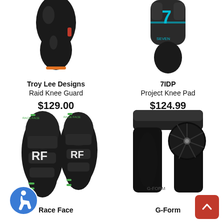[Figure (photo): Troy Lee Designs Raid Knee Guard product photo - black knee guard]
Troy Lee Designs
Raid Knee Guard
$129.00
[Figure (photo): 7IDP Project Knee Pad product photo - black knee pad with blue accent]
7IDP
Project Knee Pad
$124.99
[Figure (photo): Race Face knee/shin guards product photo - black guards with green accents, Race Face logo]
Race Face
[Figure (photo): G-Form protective shorts product photo - black compression shorts with hip pad]
G-Form